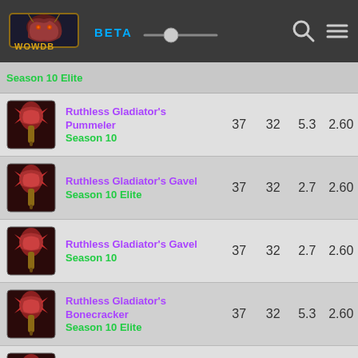WOWDB BETA
Season 10 Elite
| Icon | Name | Col1 | Col2 | Col3 | Col4 |
| --- | --- | --- | --- | --- | --- |
| [icon] | Ruthless Gladiator's Pummeler Season 10 | 37 | 32 | 5.3 | 2.60 |
| [icon] | Ruthless Gladiator's Gavel Season 10 Elite | 37 | 32 | 2.7 | 2.60 |
| [icon] | Ruthless Gladiator's Gavel Season 10 | 37 | 32 | 2.7 | 2.60 |
| [icon] | Ruthless Gladiator's Bonecracker Season 10 Elite | 37 | 32 | 5.3 | 2.60 |
| [icon] | Ruthless Gladiator's Bonecracker Season 10 | 37 | 32 | 5.3 | 2.60 |
| [icon] | Runic Hammer | 31 | 27 | 4.4 | 2.60 |